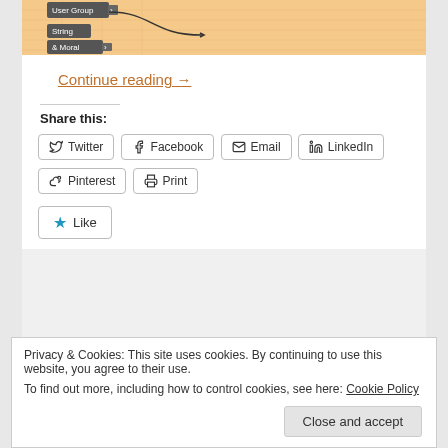[Figure (screenshot): Screenshot of a diagram editor showing nodes: 'User Group', 'String', and '& Moral' connected with arrows on an orange/tan background]
Continue reading →
Share this:
Twitter  Facebook  Email  LinkedIn  Pinterest  Print
Like
Privacy & Cookies: This site uses cookies. By continuing to use this website, you agree to their use.
To find out more, including how to control cookies, see here: Cookie Policy
Close and accept